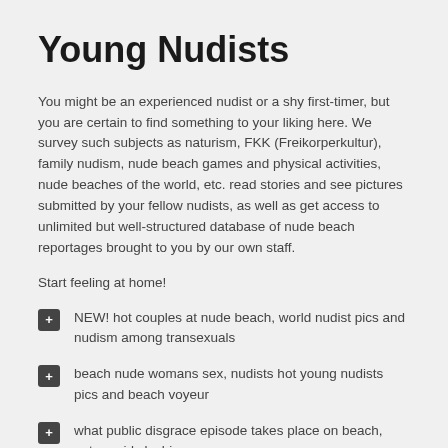Young Nudists
You might be an experienced nudist or a shy first-timer, but you are certain to find something to your liking here. We survey such subjects as naturism, FKK (Freikorperkultur), family nudism, nude beach games and physical activities, nude beaches of the world, etc. read stories and see pictures submitted by your fellow nudists, as well as get access to unlimited but well-structured database of nude beach reportages brought to you by our own staff.
Start feeling at home!
NEW! hot couples at nude beach, world nudist pics and nudism among transexuals
beach nude womans sex, nudists hot young nudists pics and beach voyeur
what public disgrace episode takes place on beach, nature girls lesbian